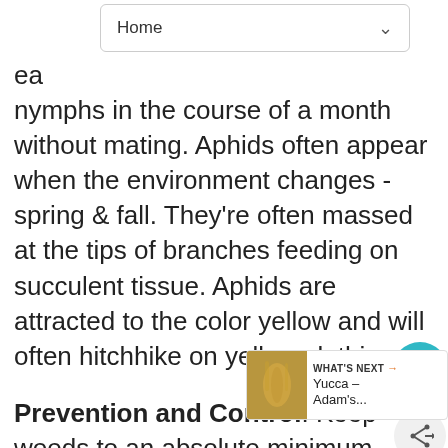Home
nymphs in the course of a month without mating. Aphids often appear when the environment changes - spring & fall. They're often massed at the tips of branches feeding on succulent tissue. Aphids are attracted to the color yellow and will often hitchhike on yellow clothing.
Prevention and Control: Keep weeds to an absolute minimum, especially around desirable plants. On edibles, wash off infected area of plant. Lady bugs and lacewings will feed on aphids in the garden. There are various products - organic and inorganic - that can be used to control aphids. Seek the recommendation of a professional and follow